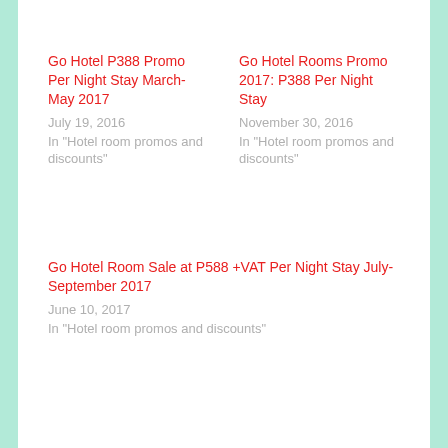Go Hotel P388 Promo Per Night Stay March- May 2017
July 19, 2016
In "Hotel room promos and discounts"
Go Hotel Rooms Promo 2017: P388 Per Night Stay
November 30, 2016
In "Hotel room promos and discounts"
Go Hotel Room Sale at P588 +VAT Per Night Stay July- September 2017
June 10, 2017
In "Hotel room promos and discounts"